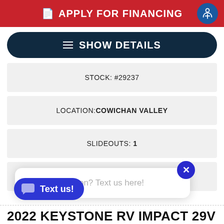APPLY FOR FINANCING
SHOW DETAILS
STOCK: #29237
LOCATION: COWICHAN VALLEY
SLIDEOUTS: 1
LENGTH: 28.80 FT
Have a question? Text us here!
Text us!
2022 KEYSTONE RV IMPACT 29V